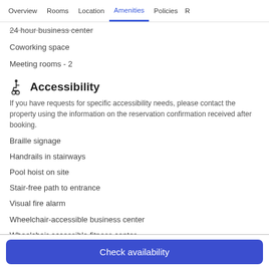Overview | Rooms | Location | Amenities | Policies | R
24 hour business center
Coworking space
Meeting rooms - 2
Accessibility
If you have requests for specific accessibility needs, please contact the property using the information on the reservation confirmation received after booking.
Braille signage
Handrails in stairways
Pool hoist on site
Stair-free path to entrance
Visual fire alarm
Wheelchair-accessible business center
Wheelchair-accessible fitness center
Check availability